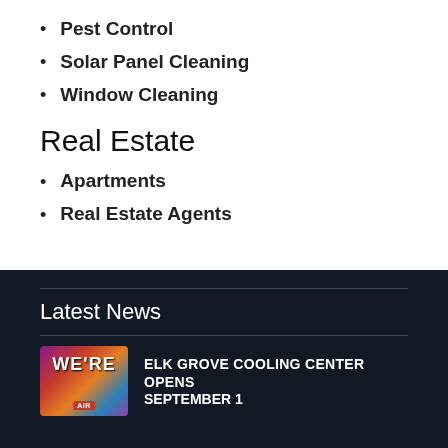Pest Control
Solar Panel Cleaning
Window Cleaning
Real Estate
Apartments
Real Estate Agents
Latest News
ELK GROVE COOLING CENTER OPENS SEPTEMBER 1